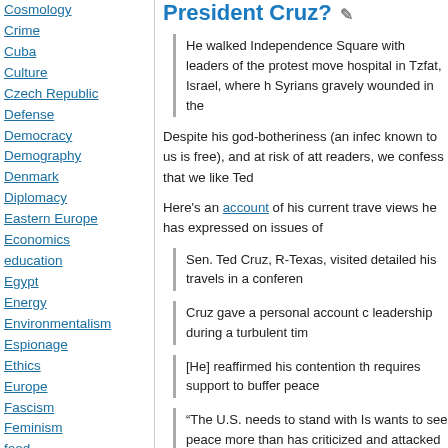Cosmology
Crime
Cuba
Culture
Czech Republic
Defense
Democracy
Demography
Denmark
Diplomacy
Eastern Europe
Economics
education
Egypt
Energy
Environmentalism
Espionage
Ethics
Europe
Fascism
Feminism
food
Foreign aid
France
genocide
Germany
Globalism
Gnosticism
government
Greece
Haiti
Health
President Cruz?
He walked Independence Square with leaders of the protest movement, hospital in Tzfat, Israel, where h Syrians gravely wounded in the
Despite his god-botheriness (an infec known to us is free), and at risk of att readers, we confess that we like Ted
Here's an account of his current trave views he has expressed on issues of
Sen. Ted Cruz, R-Texas, visited detailed his travels in a conferen
Cruz gave a personal account c leadership during a turbulent tim
[He] reaffirmed his contention th requires support to buffer peace
“The U.S. needs to stand with Is wants to see peace more than has criticized and attacked the